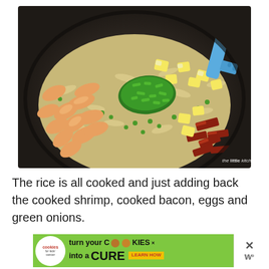[Figure (photo): A wok/pan filled with fried rice, cooked shrimp, chopped bacon, scrambled eggs, green peas, and chopped green onions. A blue spatula is visible at the top right. Watermark reads 'the little kitchen.net'.]
The rice is all cooked and just adding back the cooked shrimp, cooked bacon, eggs and green onions.
[Figure (infographic): Advertisement banner: 'cookies for kids cancer' logo on left, green background with text 'turn your COOKIES into a CURE LEARN HOW'. Close X button and 'W' logo on right.]